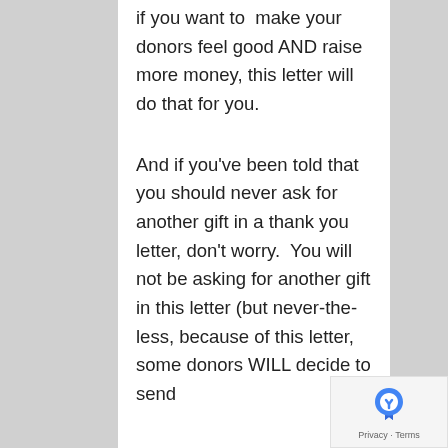if you want to make your donors feel good AND raise more money, this letter will do that for you.
And if you've been told that you should never ask for another gift in a thank you letter, don't worry. You will not be asking for another gift in this letter (but never-the-less, because of this letter, some donors WILL decide to send